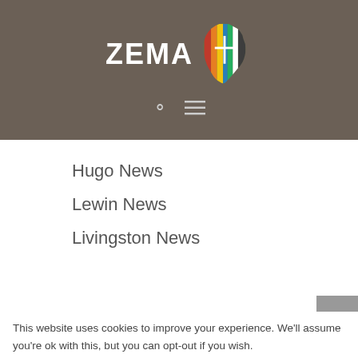[Figure (logo): ZEMA logo with colorful Africa continent shape and bold white ZEMA text on dark taupe background]
Hugo News
Lewin News
Livingston News
This website uses cookies to improve your experience. We'll assume you're ok with this, but you can opt-out if you wish.
Cookie settings
ACCEPT